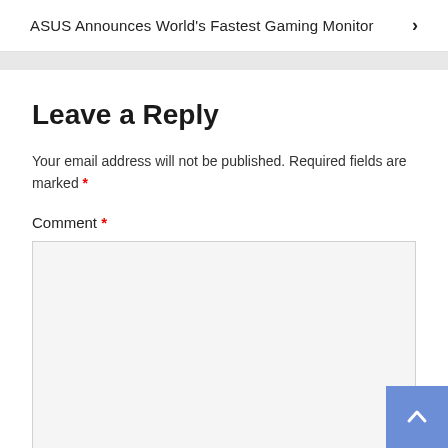ASUS Announces World's Fastest Gaming Monitor ›
Leave a Reply
Your email address will not be published. Required fields are marked *
Comment *